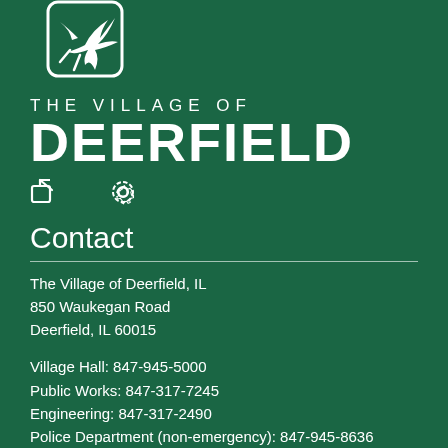[Figure (logo): The Village of Deerfield logo — white outline of a deer/bird in a rounded square on dark green background]
THE VILLAGE OF DEERFIELD
[Figure (other): Share icon and settings/gear icon in white]
Contact
The Village of Deerfield, IL
850 Waukegan Road
Deerfield, IL 60015
Village Hall: 847-945-5000
Public Works: 847-317-7245
Engineering: 847-317-2490
Police Department (non-emergency): 847-945-8636
Village Hall Hours
Monday - Friday
8 a.m. - 4:30 p.m.